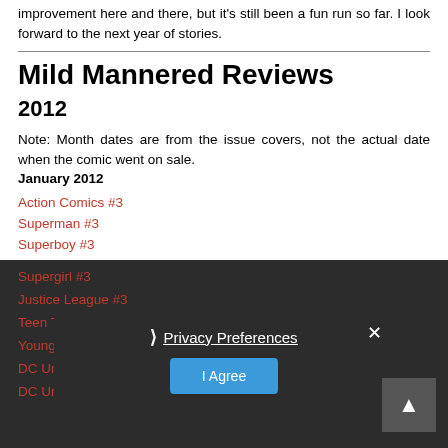improvement here and there, but it's still been a fun run so far. I look forward to the next year of stories.
Mild Mannered Reviews
2012
Note: Month dates are from the issue covers, not the actual date when the comic went on sale.
January 2012
Action Comics #3
Superman #3
Superboy #3
Supergirl #3
Justice League #3
Teen Titans #3
Young Justice #10
DC Universe Online Legends #...
DC Universe Online Legends #18